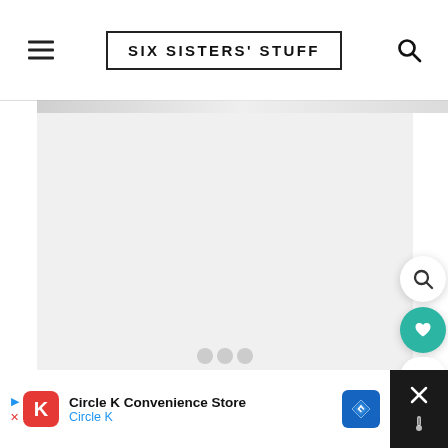SIX SISTERS' STUFF
[Figure (screenshot): Gray horizontal scrollbar/banner below the site header]
[Figure (photo): Large white/light gray image placeholder area for a recipe or content photo, with a small play/media icon cluster visible in the center-bottom]
[Figure (screenshot): Circular search button (magnifying glass) on the right side]
[Figure (screenshot): Circular teal heart/favorite button on the right side]
5
[Figure (screenshot): Circular share button on the right side]
[Figure (screenshot): Advertisement banner at the bottom: Circle K Convenience Store ad with red K logo, blue Circle K text, and map/direction icon. Right side shows dark close area with X icon and thermometer icon.]